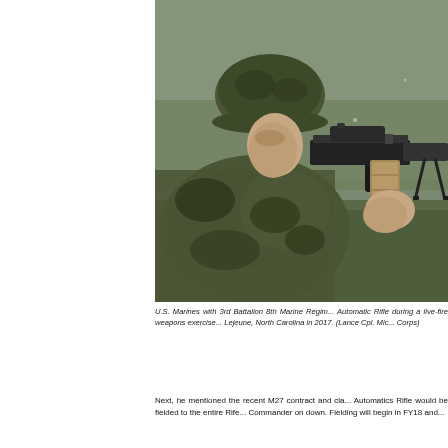[Figure (photo): A U.S. Marine in camouflage uniform and helmet aiming an M27 Infantry Automatic Rifle during a live-fire exercise outdoors, lying prone on grass.]
U.S. Marines with 3rd Battalion 8th Marine Regiment fire the M27 Infantry Automatic Rifle during a live-fire weapons exercise at Camp Lejeune, North Carolina in 2017. (Lance Cpl. Michaela Gregory/Marine Corps)
Next, he mentioned the recent M27 contract and clarified that the Infantry Automatics Rifle would be fielded to the entire Rifle Battalion, from the Commander on down. Fielding will begin in FY18 and...